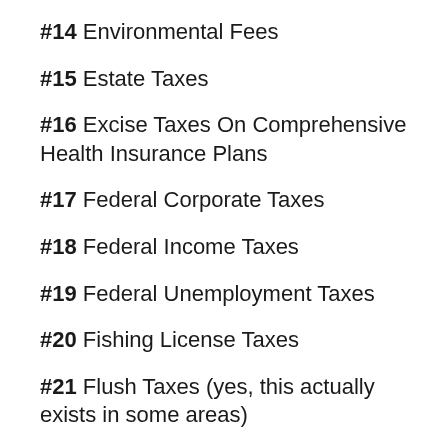#14 Environmental Fees
#15 Estate Taxes
#16 Excise Taxes On Comprehensive Health Insurance Plans
#17 Federal Corporate Taxes
#18 Federal Income Taxes
#19 Federal Unemployment Taxes
#20 Fishing License Taxes
#21 Flush Taxes (yes, this actually exists in some areas)